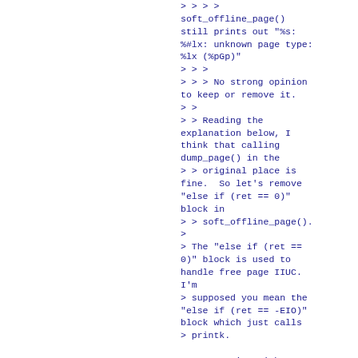> > > >
soft_offline_page()
still prints out "%s:
%#lx: unknown page type:
%lx (%pGp)"
> > >
> > > No strong opinion
to keep or remove it.
> >
> > Reading the
explanation below, I
think that calling
dump_page() in the
> > original place is
fine.  So let's remove
"else if (ret == 0)"
block in
> > soft_offline_page().
>
> The "else if (ret ==
0)" block is used to
handle free page IIUC.
I'm
> supposed you mean the
"else if (ret == -EIO)"
block which just calls
> printk.

Sorry, you're right. I
miss-copied the line.